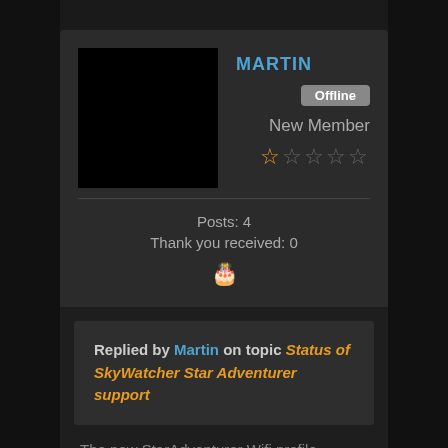[Figure (photo): Black square avatar image for user Martin]
MARTIN
Offline
New Member
★☆☆☆☆ (1 out of 5 stars)
Posts: 4
Thank you received: 0
🎂 (birthday cake icon)
Replied by Martin on topic Status of SkyWatcher Star Adventurer support
The new StarAdventurer Wifi profile